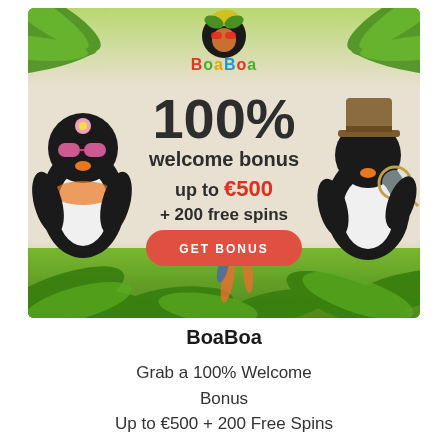[Figure (illustration): BoaBoa casino promotional banner with tropical jungle theme, two penguin mascots wearing sunglasses and hat, palm leaves, '100% welcome bonus up to €500 + 200 free spins' text and a red GET BONUS button]
BoaBoa
Grab a 100% Welcome Bonus Up to €500 + 200 Free Spins